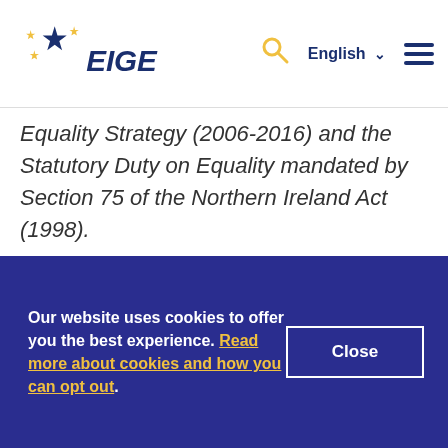EIGE — English
Equality Strategy (2006-2016) and the Statutory Duty on Equality mandated by Section 75 of the Northern Ireland Act (1998).
On 23 June 2016, the UK voted to leave the European Union (EU). The negative impact on gender equality is one of many Brexit-related concerns, given that most of the progress in relation to gender equality has been driven by the framework of EU employment strategies and
Our website uses cookies to offer you the best experience. Read more about cookies and how you can opt out.